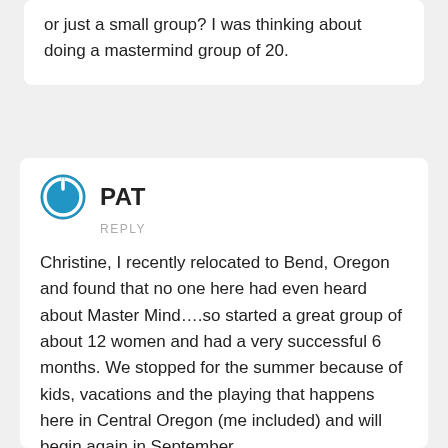or just a small group? I was thinking about doing a mastermind group of 20.
PAT
REPLY
Christine, I recently relocated to Bend, Oregon and found that no one here had even heard about Master Mind….so started a great group of about 12 women and had a very successful 6 months. We stopped for the summer because of kids, vacations and the playing that happens here in Central Oregon (me included) and will begin again in September.
My group followed my area of expertise, real estate, and so all the women were somehow effected by the turn of events in the current market – agents, appraisers, window coverings